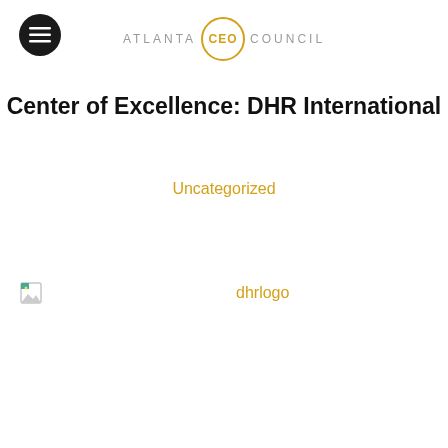ATLANTA CEO COUNCIL
Center of Excellence: DHR International
Uncategorized
[Figure (logo): Broken image placeholder with alt text 'dhrlogo' shown as a link in gold/amber color]